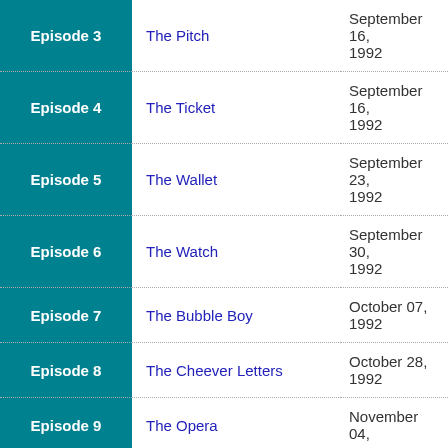| Episode | Title | Air Date |
| --- | --- | --- |
| Episode 3 | The Pitch | September 16, 1992 |
| Episode 4 | The Ticket | September 16, 1992 |
| Episode 5 | The Wallet | September 23, 1992 |
| Episode 6 | The Watch | September 30, 1992 |
| Episode 7 | The Bubble Boy | October 07, 1992 |
| Episode 8 | The Cheever Letters | October 28, 1992 |
| Episode 9 | The Opera | November 04, |